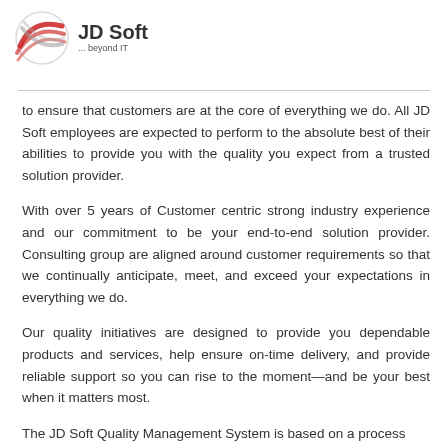JD Soft ... beyond IT
to ensure that customers are at the core of everything we do. All JD Soft employees are expected to perform to the absolute best of their abilities to provide you with the quality you expect from a trusted solution provider.
With over 5 years of Customer centric strong industry experience and our commitment to be your end-to-end solution provider. Consulting group are aligned around customer requirements so that we continually anticipate, meet, and exceed your expectations in everything we do.
Our quality initiatives are designed to provide you dependable products and services, help ensure on-time delivery, and provide reliable support so you can rise to the moment—and be your best when it matters most.
The JD Soft Quality Management System is based on a process